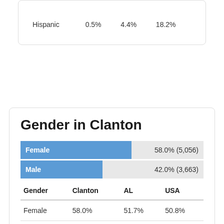|  |  |  |  |
| --- | --- | --- | --- |
| Hispanic | 0.5% | 4.4% | 18.2% |
Gender in Clanton
[Figure (bar-chart): Gender in Clanton]
| Gender | Clanton | AL | USA |
| --- | --- | --- | --- |
| Female | 58.0% | 51.7% | 50.8% |
| Male | 42.0% | 48.3% | 49.2% |